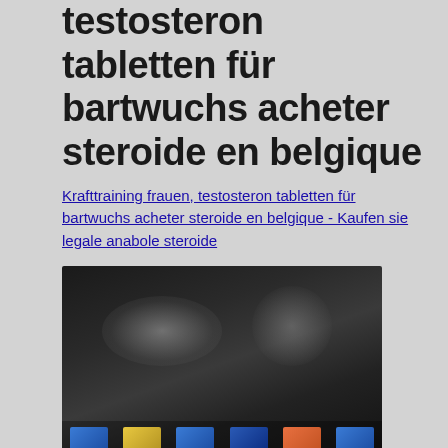testosteron tabletten für bartwuchs acheter steroide en belgique
Krafttraining frauen, testosteron tabletten für bartwuchs acheter steroide en belgique - Kaufen sie legale anabole steroide
[Figure (photo): Dark blurred photo, appears to show athletes or people, with colorful objects at the bottom]
[Figure (photo): Partially visible blurred photo with colorful product images, cropped at bottom of page]